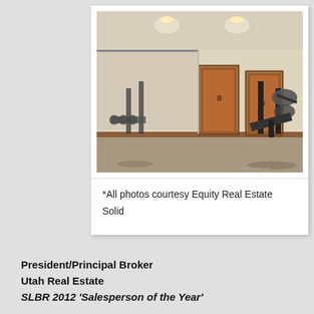[Figure (photo): Interior photo of a home gym/exercise room with weight equipment, barbell racks, mirrors on the left wall, brown carpeted floor, wooden door visible in the background, recessed ceiling lights. Reflection visible in mirrors.]
*All photos courtesy Equity Real Estate Solid
President/Principal Broker
Utah Real Estate
SLBR 2012 'Salesperson of the Year'